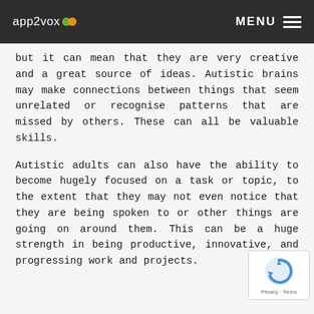app2vox  MENU
but it can mean that they are very creative and a great source of ideas. Autistic brains may make connections between things that seem unrelated or recognise patterns that are missed by others. These can all be valuable skills.
Autistic adults can also have the ability to become hugely focused on a task or topic, to the extent that they may not even notice that they are being spoken to or other things are going on around them. This can be a huge strength in being productive, innovative, and progressing work and projects.